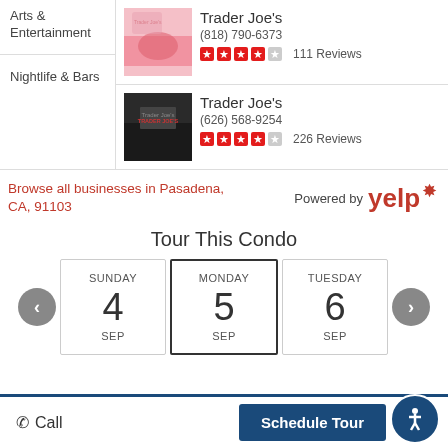Arts & Entertainment
Nightlife & Bars
Trader Joe's
(818) 790-6373
111 Reviews
Trader Joe's
(626) 568-9254
226 Reviews
Browse all businesses in Pasadena, CA, 91103
Powered by yelp
Tour This Condo
SUNDAY 4 SEP
MONDAY 5 SEP
TUESDAY 6 SEP
Call
Schedule Tour